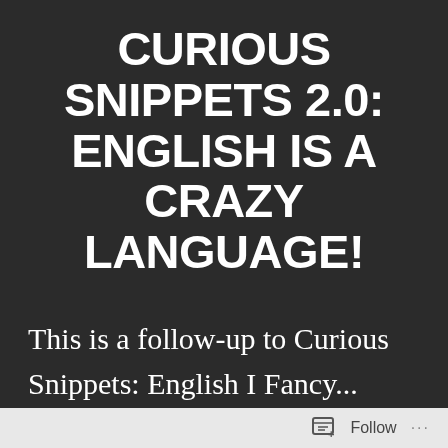CURIOUS SNIPPETS 2.0: ENGLISH IS A CRAZY LANGUAGE!
This is a follow-up to Curious Snippets: English I Fancy... While cleaning out old keepsakes a found a few
Follow ...